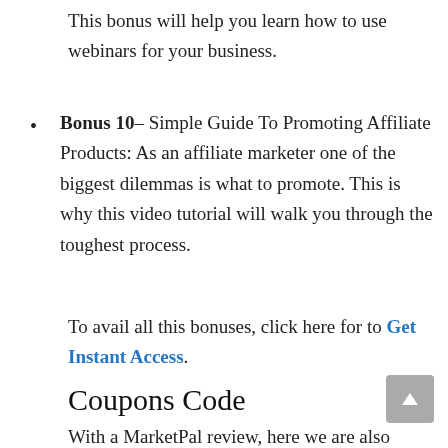This bonus will help you learn how to use webinars for your business.
Bonus 10– Simple Guide To Promoting Affiliate Products: As an affiliate marketer one of the biggest dilemmas is what to promote. This is why this video tutorial will walk you through the toughest process.
To avail all this bonuses, click here for to Get Instant Access.
Coupons Code
With a MarketPal review, here we are also